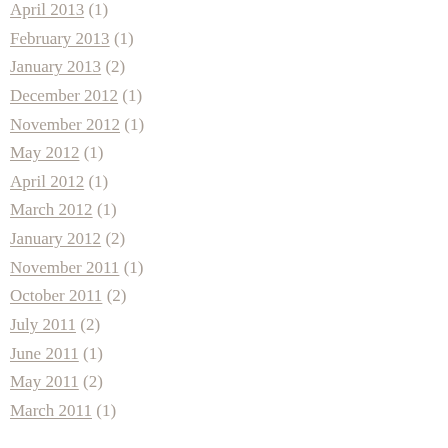April 2013 (1)
February 2013 (1)
January 2013 (2)
December 2012 (1)
November 2012 (1)
May 2012 (1)
April 2012 (1)
March 2012 (1)
January 2012 (2)
November 2011 (1)
October 2011 (2)
July 2011 (2)
June 2011 (1)
May 2011 (2)
March 2011 (1)